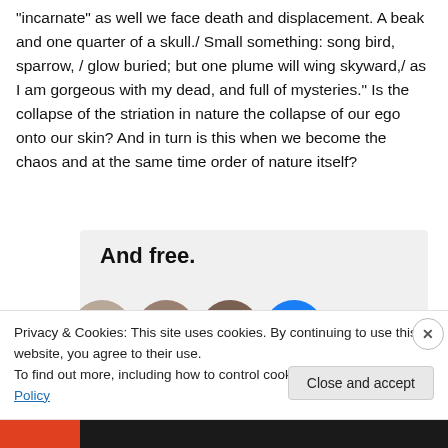"incarnate" as well we face death and displacement. A beak and one quarter of a skull./ Small something: song bird, sparrow, / glow buried; but one plume will wing skyward,/ as I am gorgeous with my dead, and full of mysteries." Is the collapse of the striation in nature the collapse of our ego onto our skin? And in turn is this when we become the chaos and at the same time order of nature itself?
[Figure (screenshot): Light gray advertisement box with bold text 'And free.' and a row of user avatar circles below it, partially cut off.]
Privacy & Cookies: This site uses cookies. By continuing to use this website, you agree to their use.
To find out more, including how to control cookies, see here: Cookie Policy
Close and accept